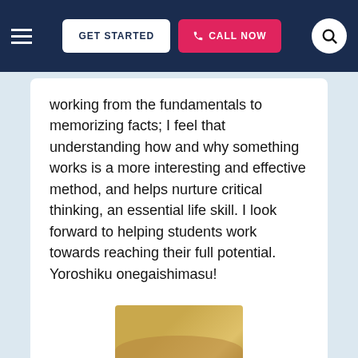GET STARTED | CALL NOW
working from the fundamentals to memorizing facts; I feel that understanding how and why something works is a more interesting and effective method, and helps nurture critical thinking, an essential life skill. I look forward to helping students work towards reaching their full potential. Yoroshiku onegaishimasu!
View this Ankara Japanese Tutor ►
[Figure (photo): Bottom of page showing the top of a second tutor card with a partial profile photo visible]